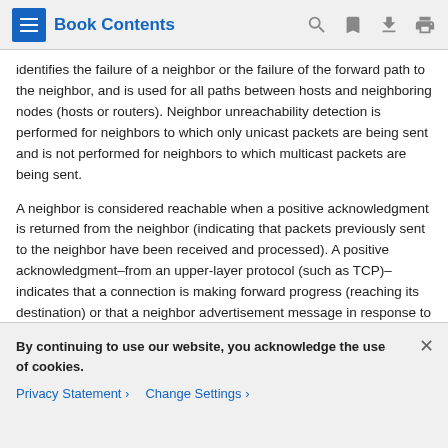Book Contents
identifies the failure of a neighbor or the failure of the forward path to the neighbor, and is used for all paths between hosts and neighboring nodes (hosts or routers). Neighbor unreachability detection is performed for neighbors to which only unicast packets are being sent and is not performed for neighbors to which multicast packets are being sent.
A neighbor is considered reachable when a positive acknowledgment is returned from the neighbor (indicating that packets previously sent to the neighbor have been received and processed). A positive acknowledgment–from an upper-layer protocol (such as TCP)–indicates that a connection is making forward progress (reaching its destination) or that a neighbor advertisement message in response to a neighbor solicitation message has been received. If packets are reaching the...
By continuing to use our website, you acknowledge the use of cookies.
Privacy Statement > Change Settings >